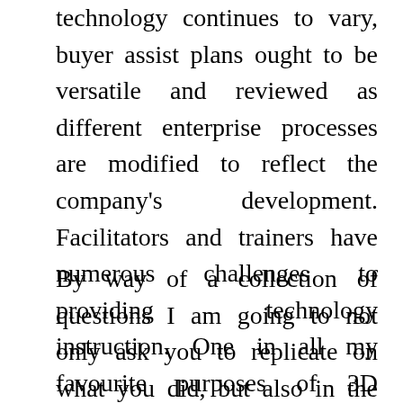technology continues to vary, buyer assist plans ought to be versatile and reviewed as different enterprise processes are modified to reflect the company's development. Facilitators and trainers have numerous challenges to providing technology instruction. One in all my favourite purposes of 3D technology is medical/veterinary, however it's proving helpful in all types of realms.
By way of a collection of questions I am going to not only ask you to replicate on what you did, but also in the process challenge some firmly entrenched assumptions regarding technology. It is not that technology is bad…as